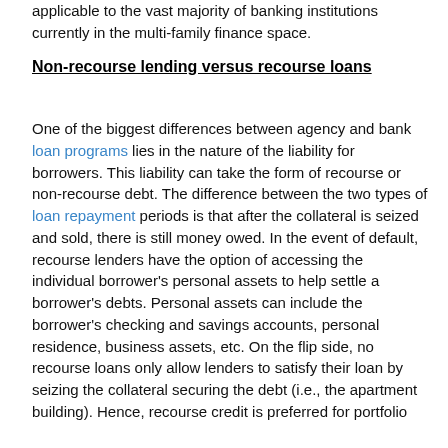applicable to the vast majority of banking institutions currently in the multi-family finance space.
Non-recourse lending versus recourse loans
One of the biggest differences between agency and bank loan programs lies in the nature of the liability for borrowers. This liability can take the form of recourse or non-recourse debt. The difference between the two types of loan repayment periods is that after the collateral is seized and sold, there is still money owed. In the event of default, recourse lenders have the option of accessing the individual borrower's personal assets to help settle a borrower's debts. Personal assets can include the borrower's checking and savings accounts, personal residence, business assets, etc. On the flip side, no recourse loans only allow lenders to satisfy their loan by seizing the collateral securing the debt (i.e., the apartment building). Hence, recourse credit is preferred for portfolio lenders and recourse debt is the most common type used.